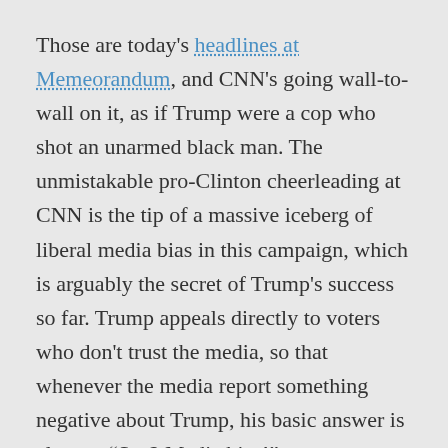Those are today's headlines at Memeorandum, and CNN's going wall-to-wall on it, as if Trump were a cop who shot an unarmed black man. The unmistakable pro-Clinton cheerleading at CNN is the tip of a massive iceberg of liberal media bias in this campaign, which is arguably the secret of Trump's success so far. Trump appeals directly to voters who don't trust the media, so that whenever the media report something negative about Trump, his basic answer is always, “See? Media bias!”
Whether or not this will be enough for Trump to win the election, however, is the important question. The latest Fox News poll has Clinton leading by 5 points, 49%-44%, and the Real Clear Politics average of national polls show Clinton expanding her lead from a virtual dead heat on Sept. 19 (when it was Clinton